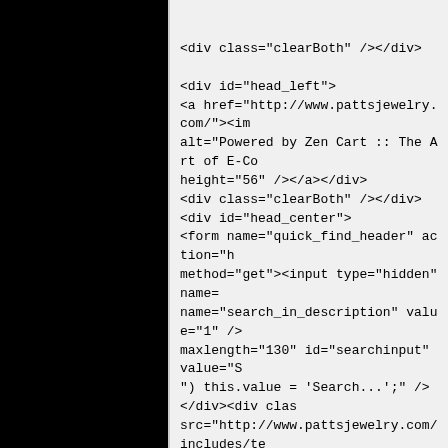<div class="clearBoth" /></div>

<div id="head_left">
<a href="http://www.pattsjewelry.com/"><im
alt="Powered by Zen Cart :: The Art of E-Co
height="56" /></a></div>
<div class="clearBoth" /></div>
<div id="head_center">
<form name="quick_find_header" action="h
method="get"><input type="hidden" name=
name="search_in_description" value="1" />
maxlength="130" id="searchinput" value="S
") this.value = 'Search...';" /></div><div clas
src="http://www.pattsjewelry.com/includes/te
</div>
<div class="clearBoth" /></div>